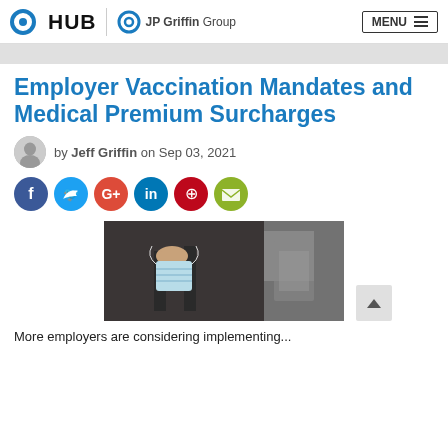HUB | JP Griffin Group — MENU
Employer Vaccination Mandates and Medical Premium Surcharges
by Jeff Griffin on Sep 03, 2021
[Figure (illustration): Social sharing icons: Facebook (blue circle), Twitter (light blue circle), Google+ (red-orange circle), LinkedIn (teal circle), Pinterest (dark red circle), Email (yellow-green circle)]
[Figure (photo): A person holding a light blue surgical face mask by bag handle straps in an office/travel setting]
More employers are considering implementing...